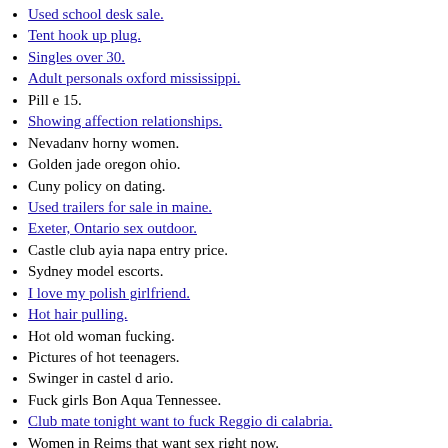Used school desk sale.
Tent hook up plug.
Singles over 30.
Adult personals oxford mississippi.
Pill e 15.
Showing affection relationships.
Nevadanv horny women.
Golden jade oregon ohio.
Cuny policy on dating.
Used trailers for sale in maine.
Exeter, Ontario sex outdoor.
Castle club ayia napa entry price.
Sydney model escorts.
I love my polish girlfriend.
Hot hair pulling.
Hot old woman fucking.
Pictures of hot teenagers.
Swinger in castel d ario.
Fuck girls Bon Aqua Tennessee.
Club mate tonight want to fuck Reggio di calabria.
Women in Reims that want sex right now.
Indian call girl blog.
Dating sites in glasgow.
Asian girls Philadelphia Pennsylvania.
Lea and cory dating timeline.